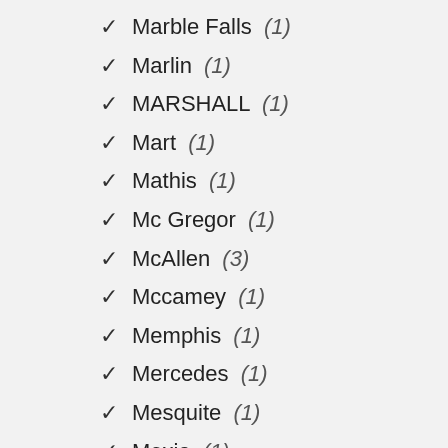Marble Falls (1)
Marlin (1)
MARSHALL (1)
Mart (1)
Mathis (1)
Mc Gregor (1)
McAllen (3)
Mccamey (1)
Memphis (1)
Mercedes (1)
Mesquite (1)
Mexia (1)
Midland (1)
Mineral Wells (1)
Mission (2)